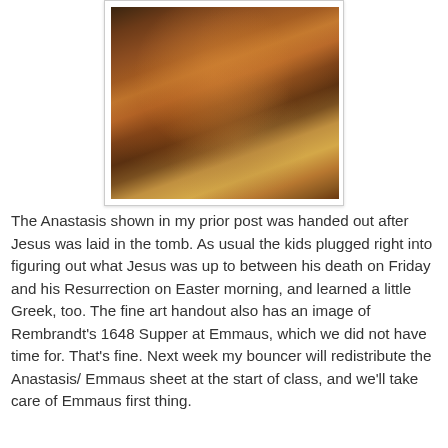[Figure (illustration): Rembrandt painting showing biblical scene — Return of the Prodigal Son or similar subject, depicting figures in warm dark tones with an elderly man embracing a kneeling figure, with other figures in the background]
The Anastasis shown in my prior post was handed out after Jesus was laid in the tomb. As usual the kids plugged right into figuring out what Jesus was up to between his death on Friday and his Resurrection on Easter morning, and learned a little Greek, too. The fine art handout also has an image of Rembrandt's 1648 Supper at Emmaus, which we did not have time for. That's fine. Next week my bouncer will redistribute the Anastasis/ Emmaus sheet at the start of class, and we'll take care of Emmaus first thing.